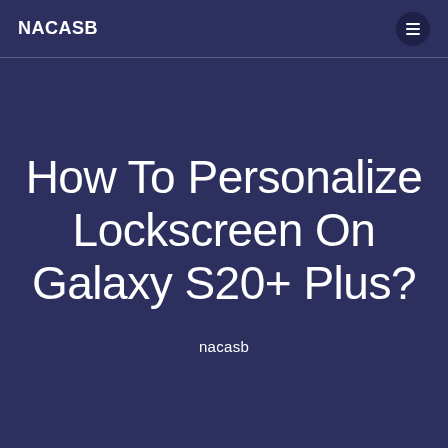NACASB
How To Personalize Lockscreen On Galaxy S20+ Plus?
nacasb